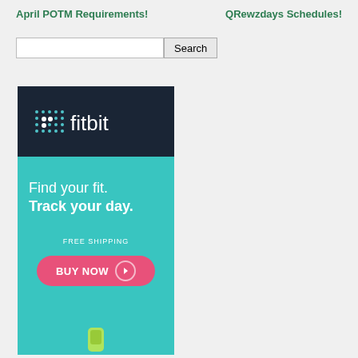April POTM Requirements!   QRewzdays Schedules!
Search [input field and button]
[Figure (illustration): Fitbit advertisement banner. Top section: dark navy background with Fitbit logo (grid-dot icon and 'fitbit' text in white). Bottom section: teal/cyan background with white text 'Find your fit. Track your day.' followed by 'FREE SHIPPING' in small caps and a pink rounded button 'BUY NOW' with arrow icon. Bottom shows partial image of a Fitbit device.]